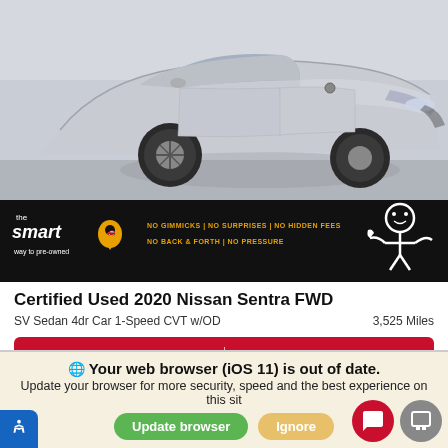[Figure (photo): Photo of a silver 2020 Nissan Sentra FWD, front-right angle, in a dealership setting]
[Figure (infographic): The smart way to pre-owned dealership banner with NO GIMMICKS | NO SURPRISES | NO HIDDEN FEES | NO BACK & FORTH | NO PRESSURE text in orange on black background with stick figure mascot]
Certified Used 2020 Nissan Sentra FWD
SV Sedan 4dr Car 1-Speed CVT w/OD      3,525 Miles
| Retail Price | Sale Price |
| --- | --- |
| $27,283 | $24,488 |
PLAY VIDEO
Your web browser (iOS 11) is out of date.
Update your browser for more security, speed and the best experience on this site.
Update browser  Ignore